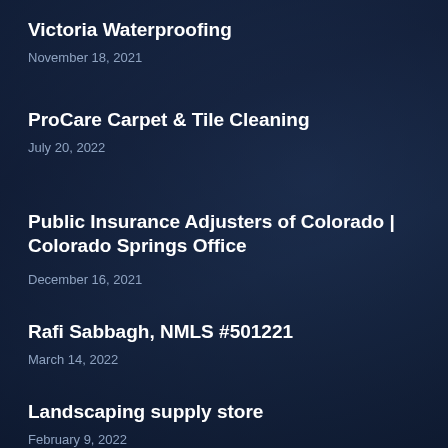Victoria Waterproofing
November 18, 2021
ProCare Carpet & Tile Cleaning
July 20, 2022
Public Insurance Adjusters of Colorado | Colorado Springs Office
December 16, 2021
Rafi Sabbagh, NMLS #501221
March 14, 2022
Landscaping supply store
February 9, 2022